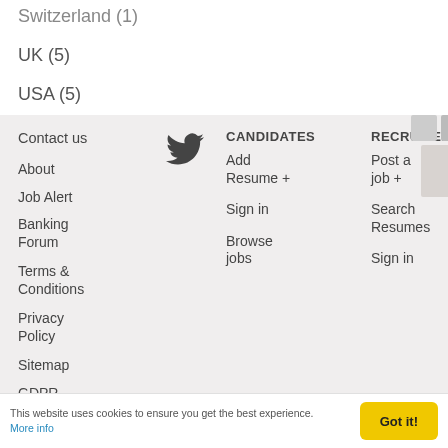Switzerland (1)
UK (5)
USA (5)
Contact us
[Figure (illustration): Twitter bird icon]
CANDIDATES
RECRUITERS
About
Add Resume +
Post a job +
Job Alert
Sign in
Search Resumes
Banking Forum
Browse jobs
Sign in
Terms & Conditions
Privacy Policy
Sitemap
GDPR
IXA Token
This website uses cookies to ensure you get the best experience. More info
Got it!